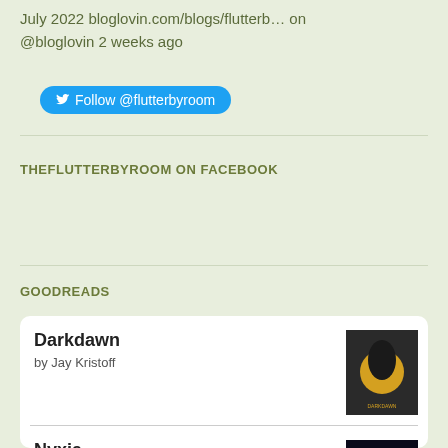July 2022 bloglovin.com/blogs/flutterb... on @bloglovin 2 weeks ago
Follow @flutterbyroom
THEFLUTTERBYROOM ON FACEBOOK
GOODREADS
Darkdawn
by Jay Kristoff
Nyxia
by Scott Reintgen